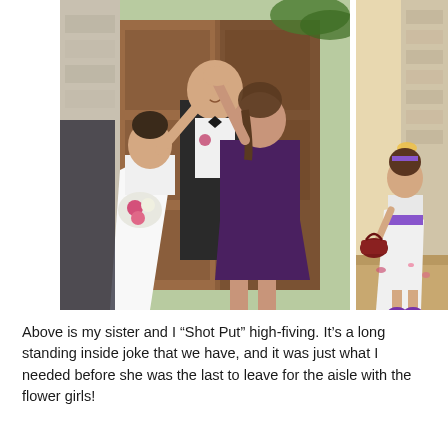[Figure (photo): Left photo: A bride in a white wedding gown holding a bouquet of pink and white flowers does a 'Shot Put' high-five with a bridesmaid in a purple dress who is also holding flowers. A man in a tuxedo stands behind them smiling. They are standing in a doorway with wooden doors and tropical foliage visible in the background.]
[Figure (photo): Right photo (partially cropped): A young flower girl in a white dress with a purple sash, holding a small red/maroon flower basket, standing indoors near a stone wall with warm lighting.]
Above is my sister and I “Shot Put” high-fiving. It’s a long standing inside joke that we have, and it was just what I needed before she was the last to leave for the aisle with the flower girls!